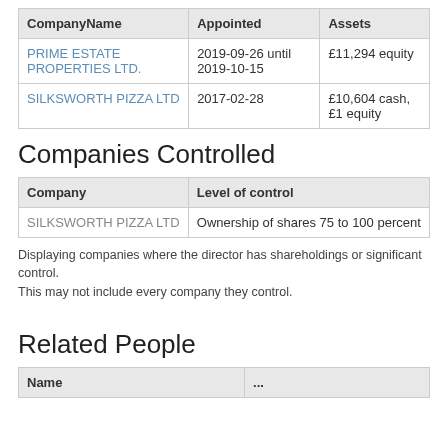| CompanyName | Appointed | Assets |
| --- | --- | --- |
| PRIME ESTATE PROPERTIES LTD. | 2019-09-26 until 2019-10-15 | £11,294 equity |
| SILKSWORTH PIZZA LTD | 2017-02-28 | £10,604 cash, £1 equity |
Companies Controlled
| Company | Level of control |
| --- | --- |
| SILKSWORTH PIZZA LTD | Ownership of shares 75 to 100 percent |
Displaying companies where the director has shareholdings or significant control.
This may not include every company they control.
Related People
| Name | ... |
| --- | --- |